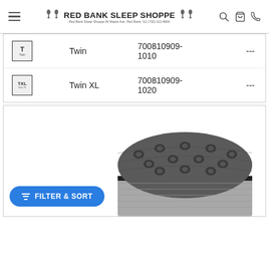RED BANK SLEEP SHOPPE Red Bank Sleep Shoppe 90 Maple Ave, Red Bank, NJ (732) 212-8600
| Size Icon | Size | SKU | Price |
| --- | --- | --- | --- |
| T | Twin | 700810909-1010 | --- |
| TXL | Twin XL | 700810909-1020 | --- |
[Figure (photo): Close-up photo of a grey tufted pillow-top mattress corner showing quilted top surface and grey fabric sides]